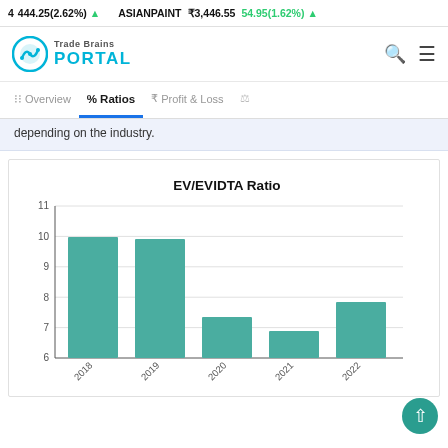4 444.25(2.62%) ▲   ASIANPAINT ₹3,446.55 54.95(1.62%) ▲
[Figure (logo): Trade Brains Portal logo with teal circular chart icon]
Overview | % Ratios | ₹ Profit & Loss
depending on the industry.
[Figure (bar-chart): EV/EVIDTA Ratio]